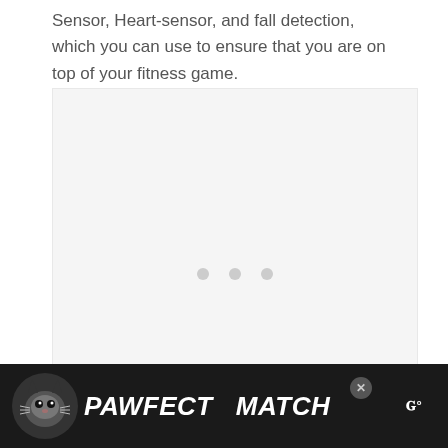Sensor, Heart-sensor, and fall detection, which you can use to ensure that you are on top of your fitness game.
[Figure (other): Large light gray placeholder image area with three small gray dots centered in the middle, indicating a loading or empty image state.]
[Figure (other): Advertisement banner at bottom of page with black background. Shows a cat illustration and the text 'PAWFECT MATCH' in white bold italic letters. Has a close button (X) and a brand logo on the right side showing 'w' symbol.]